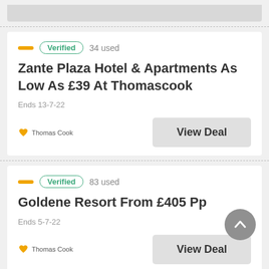[Figure (other): Grey bar at the top of the page, partially visible]
Verified  34 used
Zante Plaza Hotel & Apartments As Low As £39 At Thomascook
Ends 13-7-22
[Figure (logo): Thomas Cook logo with yellow heart icon]
View Deal
Verified  83 used
Goldene Resort From £405 Pp
Ends 5-7-22
[Figure (logo): Thomas Cook logo with yellow heart icon]
View Deal